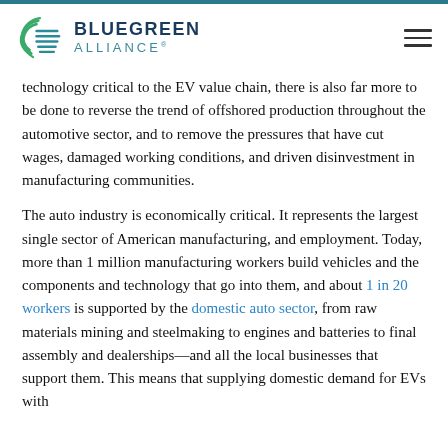BLUEGREEN ALLIANCE
technology critical to the EV value chain, there is also far more to be done to reverse the trend of offshored production throughout the automotive sector, and to remove the pressures that have cut wages, damaged working conditions, and driven disinvestment in manufacturing communities.
The auto industry is economically critical. It represents the largest single sector of American manufacturing, and employment. Today, more than 1 million manufacturing workers build vehicles and the components and technology that go into them, and about 1 in 20 workers is supported by the domestic auto sector, from raw materials mining and steelmaking to engines and batteries to final assembly and dealerships—and all the local businesses that support them. This means that supplying domestic demand for EVs with